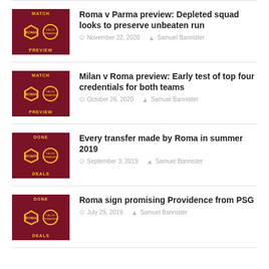Roma v Parma preview: Depleted squad looks to preserve unbeaten run — November 22, 2020 — Samuel Bannister
Milan v Roma preview: Early test of top four credentials for both teams — October 26, 2020 — Samuel Bannister
Every transfer made by Roma in summer 2019 — September 3, 2019 — Samuel Bannister
Roma sign promising Providence from PSG — July 29, 2019 — Samuel Bannister